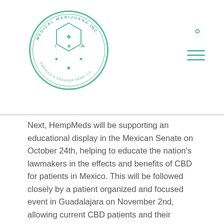[Figure (logo): Medical Marijuana Inc. circular logo with green border and cannabis/medical symbols]
Next, HempMeds will be supporting an educational display in the Mexican Senate on October 24th, helping to educate the nation's lawmakers in the effects and benefits of CBD for patients in Mexico. This will be followed closely by a patient organized and focused event in Guadalajara on November 2nd, allowing current CBD patients and their families in Mexico to share their experiences with the public.
These upcoming events, directed at lawmakers, patients, and doctors, respectively, and aimed at dispelling the myths surrounding cannabis and CBD, are effective ways to bring an understanding of cannabidiol to the general public in Mexico.